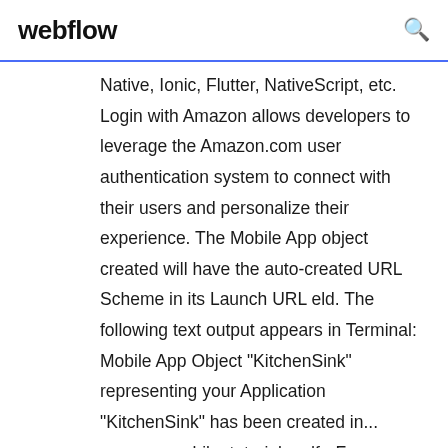webflow
Native, Ionic, Flutter, NativeScript, etc. Login with Amazon allows developers to leverage the Amazon.com user authentication system to connect with their users and personalize their experience. The Mobile App object created will have the auto-created URL Scheme in its Launch URL eld. The following text output appears in Terminal: Mobile App Object "KitchenSink" representing your Application "KitchenSink" has been created in... appeon_mobile_tutorials.pdf - Free download as PDF File (.pdf), Text File (.txt) or read online for free.